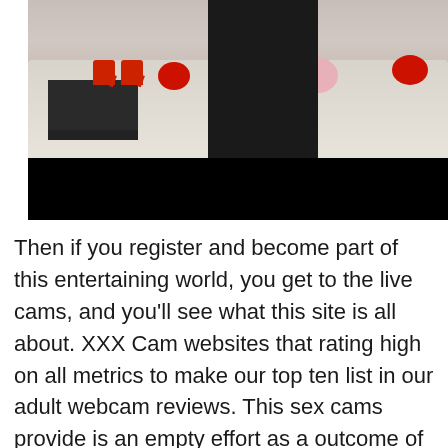[Figure (photo): A photo of a person wearing a black outfit standing in a bedroom-style setting with red high heels visible on furniture and decorative items. A black bar overlays the lower portion of the image.]
Then if you register and become part of this entertaining world, you get to the live cams, and you'll see what this site is all about. XXX Cam websites that rating high on all metrics to make our top ten list in our adult webcam reviews. This sex cams provide is an empty effort as a outcome of it's just a ridiculous gimmick making the supply